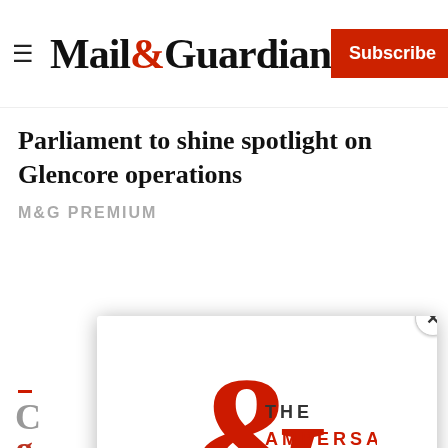Mail&Guardian — Subscribe
Parliament to shine spotlight on Glencore operations
M&G PREMIUM
[Figure (logo): The Ampersand newsletter logo — large red ampersand with 'THE AMPERSAND' text]
Stay informed. Every weekday.
E-mail Address
Signup now